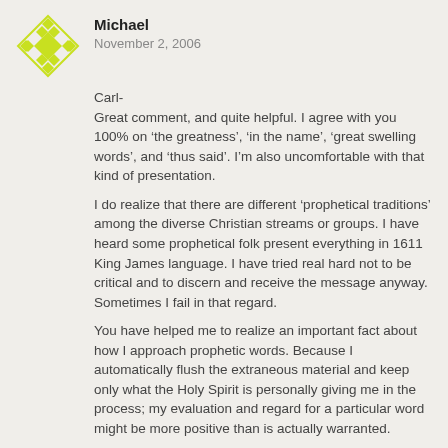[Figure (logo): Green decorative diamond/lattice pattern avatar icon]
Michael
November 2, 2006
Carl-
Great comment, and quite helpful. I agree with you 100% on ‘the greatness’, ‘in the name’, ‘great swelling words’, and ‘thus said’. I’m also uncomfortable with that kind of presentation.
I do realize that there are different ‘prophetical traditions’ among the diverse Christian streams or groups. I have heard some prophetical folk present everything in 1611 King James language. I have tried real hard not to be critical and to discern and receive the message anyway. Sometimes I fail in that regard.
You have helped me to realize an important fact about how I approach prophetic words. Because I automatically flush the extraneous material and keep only what the Holy Spirit is personally giving me in the process; my evaluation and regard for a particular word might be more positive than is actually warranted.
I need to differentiate between the actual words of a message (and words do mean something) and the experience that I have in the process. Sometimes the Holy Spirit brings additional insight and that becomes part of the message for me. Thanks Carl.